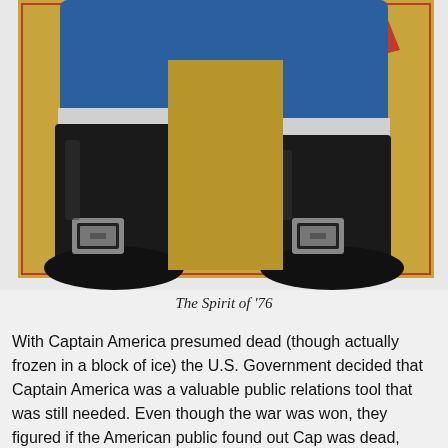[Figure (illustration): Comic book illustration showing the lower body of a superhero (Captain America / Spirit of '76) in blue costume with black boots that have silver buckles, a red cape visible at the top, standing against a golden/yellow background with a red border.]
The Spirit of '76
With Captain America presumed dead (though actually frozen in a block of ice) the U.S. Government decided that Captain America was a valuable public relations tool that was still needed. Even though the war was won, they figured if the American public found out Cap was dead,